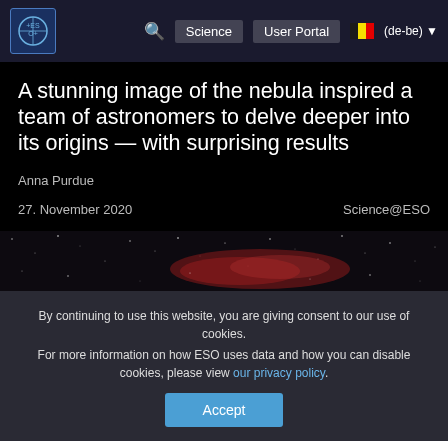ESO | Science | User Portal | (de-be)
A stunning image of the nebula inspired a team of astronomers to delve deeper into its origins — with surprising results
Anna Purdue
27. November 2020   Science@ESO
[Figure (photo): Nebula image strip showing stars and reddish nebula cloud against dark sky background]
By continuing to use this website, you are giving consent to our use of cookies.
For more information on how ESO uses data and how you can disable cookies, please view our privacy policy.
Accept